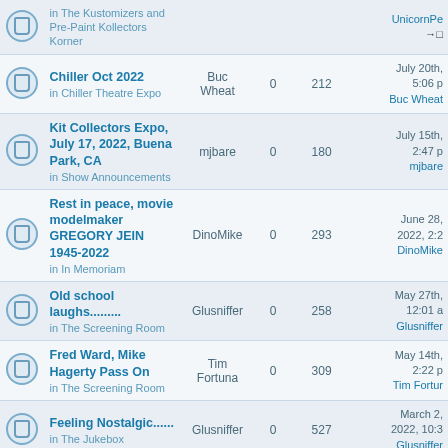|  | Topic | Author | Replies | Views | Last Post |
| --- | --- | --- | --- | --- | --- |
|  | in The Kustomizers and Pre-Paint Kollectors Korner |  |  |  | UnicornPe... →□ |
|  | Chiller Oct 2022 in Chiller Theatre Expo | Buc Wheat | 0 | 212 | July 20th, 5:06 p Buc Wheat |
|  | Kit Collectors Expo, July 17, 2022, Buena Park, CA in Show Announcements | mjbare | 0 | 180 | July 15th, 2:47 p mjbare |
|  | Rest in peace, movie modelmaker GREGORY JEIN 1945-2022 in In Memoriam | DinoMike | 0 | 293 | June 28, 2022, 2:2 DinoMike |
|  | Old school laughs......... in The Screening Room | Glusniffer | 0 | 258 | May 27th, 12:01 a Glusniffer |
|  | Fred Ward, Mike Hagerty Pass On in The Screening Room | Tim Fortuna | 0 | 309 | May 14th, 2:22 p Tim Fortuna |
|  | Feeling Nostalgic...... in The Jukebox | Glusniffer | 0 | 527 | March 2, 2022, 10:3 Glusniffer |
|  | The Adam Project (Netflix) in The Screening Room | Buc Wheat | 0 | 636 | March 1, 2022, 6:0 Buc Wheat |
|  | The Kingsman (HBO Max) | Buc Wheat | 0 | 2886 | February 2022, 4:5 |